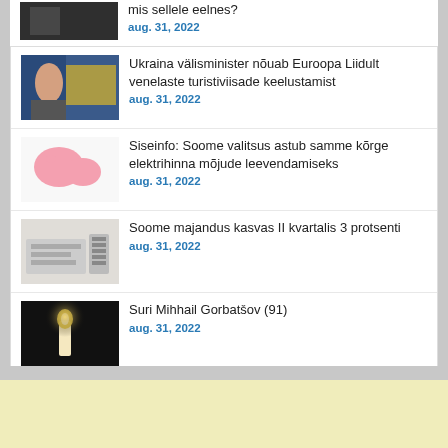mis sellele eelnes?
aug. 31, 2022
Ukraina välisminister nõuab Euroopa Liidult venelaste turistiviisade keelustamist
aug. 31, 2022
Siseinfo: Soome valitsus astub samme kõrge elektrihinna mõjude leevendamiseks
aug. 31, 2022
Soome majandus kasvas II kvartalis 3 protsenti
aug. 31, 2022
Suri Mihhail Gorbatšov (91)
aug. 31, 2022
VIDEO: Ukraina lõunaosas sai tabamuse oluline sild
aug. 30, 2022